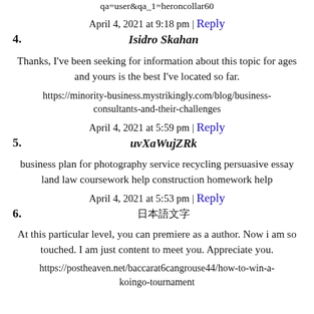qa=user&qa_1=heroncollar60
April 4, 2021 at 9:18 pm | Reply
4. Isidro Skahan
Thanks, I've been seeking for information about this topic for ages and yours is the best I've located so far.
https://minority-business.mystrikingly.com/blog/business-consultants-and-their-challenges
April 4, 2021 at 5:59 pm | Reply
5. uvXaWujZRk
business plan for photography service recycling persuasive essay land law coursework help construction homework help
April 4, 2021 at 5:53 pm | Reply
6. 日本語文字
At this particular level, you can premiere as a author. Now i am so touched. I am just content to meet you. Appreciate you.
https://postheaven.net/baccarat6cangrouse44/how-to-win-a-koingo-tournament